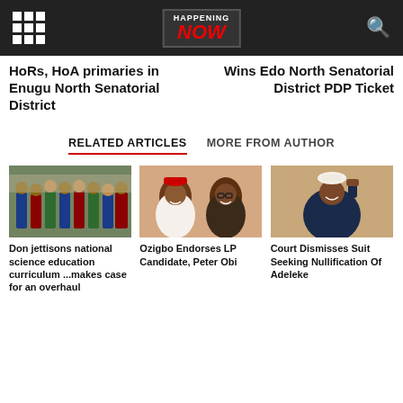HAPPENING NOW
HoRs, HoA primaries in Enugu North Senatorial District
Wins Edo North Senatorial District PDP Ticket
RELATED ARTICLES | MORE FROM AUTHOR
[Figure (photo): Group of academics in graduation robes]
Don jettisons national science education curriculum ...makes case for an overhaul
[Figure (photo): Two politicians smiling, one in red cap]
Ozigbo Endorses LP Candidate, Peter Obi
[Figure (photo): Man in white cap raising fist]
Court Dismisses Suit Seeking Nullification Of Adeleke